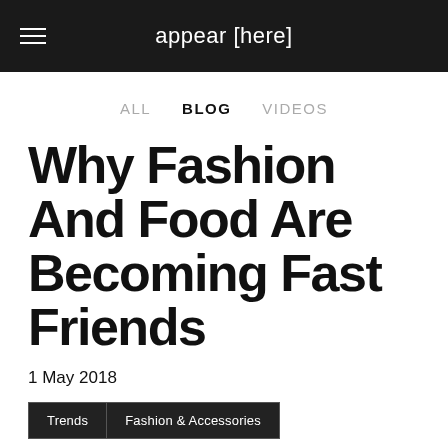appear [here]
ALL  BLOG  VIDEOS
Why Fashion And Food Are Becoming Fast Friends
1 May 2018
Trends  Fashion & Accessories